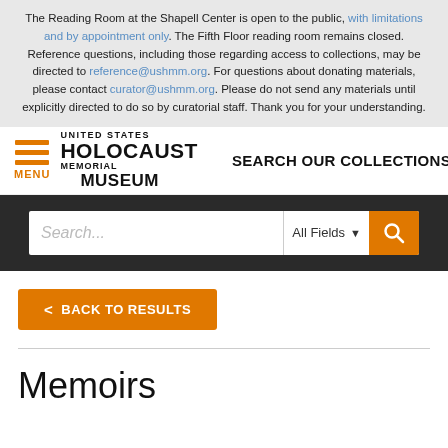The Reading Room at the Shapell Center is open to the public, with limitations and by appointment only. The Fifth Floor reading room remains closed. Reference questions, including those regarding access to collections, may be directed to reference@ushmm.org. For questions about donating materials, please contact curator@ushmm.org. Please do not send any materials until explicitly directed to do so by curatorial staff. Thank you for your understanding.
[Figure (logo): United States Holocaust Memorial Museum logo with hamburger menu and SEARCH OUR COLLECTIONS text]
[Figure (screenshot): Search bar with placeholder text 'Search...', All Fields dropdown, and orange search button]
< BACK TO RESULTS
Memoirs